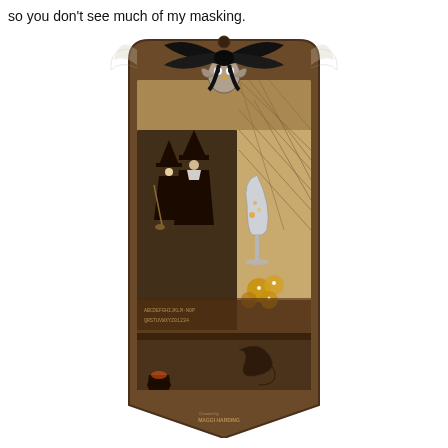so you don't see much of my masking.
[Figure (photo): A Halloween-themed decorative tag craft project featuring a dark brown distressed background with a large black satin bow at the top, an owl charm, cobweb patterns, two witch figures, a champagne glass embellishment, golden flower decorations, and a watermark reading 'Created by Maggi Harding' at the bottom.]